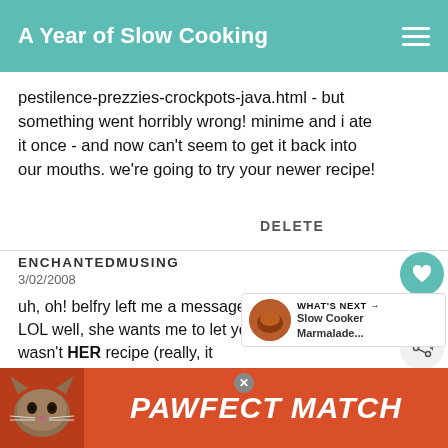A Year of Slow Cooking
pestilence-prezzies-crockpots-java.html - but something went horribly wrong! minime and i ate it once - and now can't seem to get it back into our mouths. we're going to try your newer recipe!
DELETE
ENCHANTEDMUSING
3/02/2008
uh, oh! belfry left me a message tha replied to her. LOL well, she wants me to let you know that it wasn't HER recipe (really, it
[Figure (other): WHAT'S NEXT arrow widget with Slow Cooker Marmalade... thumbnail]
[Figure (other): PAWFECT MATCH advertisement banner with cat photo]